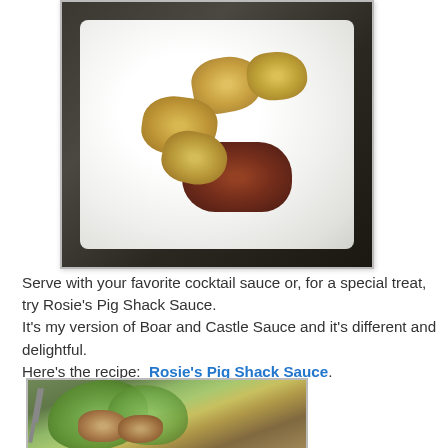[Figure (photo): Fried food pieces (breaded, golden-brown) on a white plate with brown sauce/gravy pooled underneath, photographed from above on a white square plate with dark background]
Serve with your favorite cocktail sauce or, for a special treat, try Rosie's Pig Shack Sauce.
It's my version of Boar and Castle Sauce and it's different and delightful.
Here's the recipe:  Rosie's Pig Shack Sauce.
[Figure (photo): Fried meat pieces served on green lettuce leaves with a fork visible, on a striped surface]